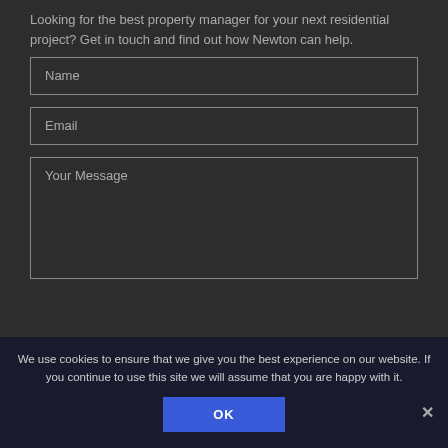Looking for the best property manager for your next residential project? Get in touch and find out how Newton can help.
Name
Email
Your Message
We use cookies to ensure that we give you the best experience on our website. If you continue to use this site we will assume that you are happy with it.
OK